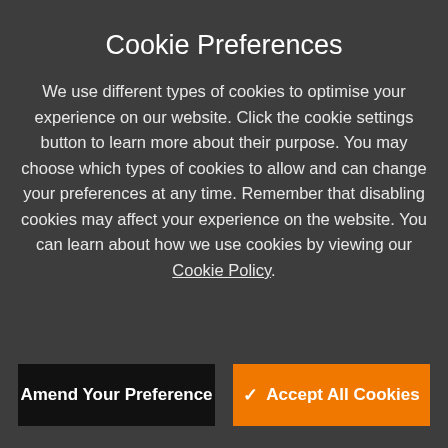Sort By   17 Products
Relevancy  ▽  Filter (11)
£ 42.69 inc. vat
Cookie Preferences
We use different types of cookies to optimise your experience on our website. Click the cookie settings button to learn more about their purpose. You may choose which types of cookies to allow and can change your preferences at any time. Remember that disabling cookies may affect your experience on the website. You can learn about how we use cookies by viewing our Cookie Policy.
Amend Your Preference
✓ Accept All Cookies